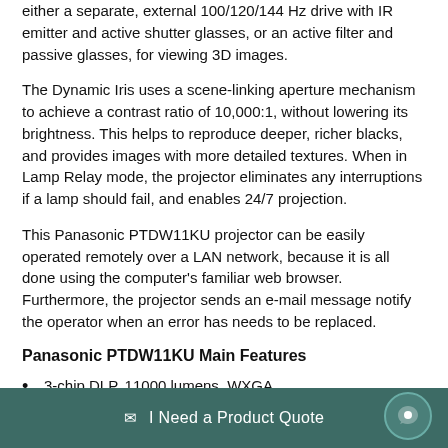either a separate, external 100/120/144 Hz drive with IR emitter and active shutter glasses, or an active filter and passive glasses, for viewing 3D images.
The Dynamic Iris uses a scene-linking aperture mechanism to achieve a contrast ratio of 10,000:1, without lowering its brightness. This helps to reproduce deeper, richer blacks, and provides images with more detailed textures. When in Lamp Relay mode, the projector eliminates any interruptions if a lamp should fail, and enables 24/7 projection.
This Panasonic PTDW11KU projector can be easily operated remotely over a LAN network, because it is all done using the computer's familiar web browser. Furthermore, the projector sends an e-mail message notify the operator when an error has needs to be replaced.
Panasonic PTDW11KU Main Features
3-chip DLP, 11000 lumens, WXGA
High brightness and high contrast ratio make bright, crisp and sharp image
Dual lamp system with Lamp Relay mode enables 24/7
I Need a Product Quote